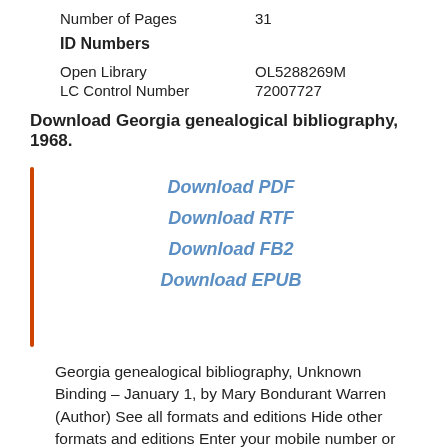Number of Pages    31
ID Numbers
Open Library    OL5288269M
LC Control Number    72007727
Download Georgia genealogical bibliography, 1968.
Download PDF
Download RTF
Download FB2
Download EPUB
Georgia genealogical bibliography, Unknown Binding – January 1, by Mary Bondurant Warren (Author) See all formats and editions Hide other formats and editions Enter your mobile number or email address below and we'll send you a link to download the free Kindle App.